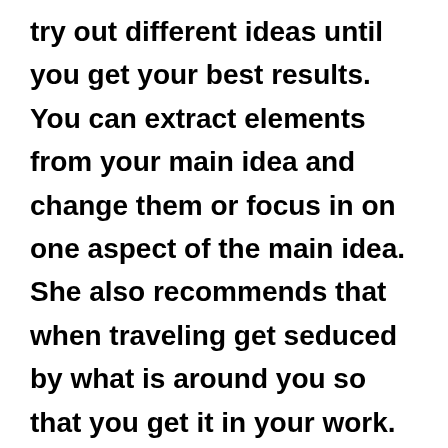try out different ideas until you get your best results.  You can extract elements from your main idea and change them or focus in on one aspect of the main idea.  She also recommends that when traveling get seduced by what is around you so that you get it in your work.  Also, get rid of your fears... of rejection, of being told you're wrong, and of having to fit in.  Be unique and express your